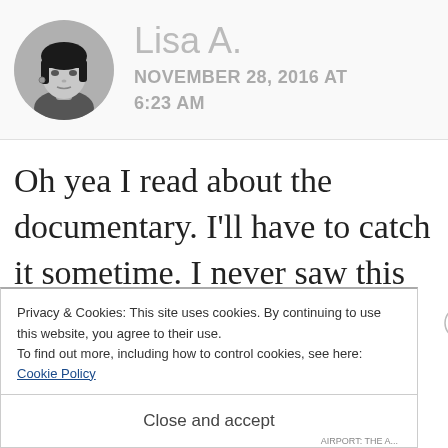[Figure (photo): Circular avatar photo of a woman with dark bangs, black and white photo]
Lisa A.
NOVEMBER 28, 2016 AT 6:23 AM
Oh yea I read about the documentary. I'll have to catch it sometime. I never saw this post! I
Privacy & Cookies: This site uses cookies. By continuing to use this website, you agree to their use.
To find out more, including how to control cookies, see here: Cookie Policy
Close and accept